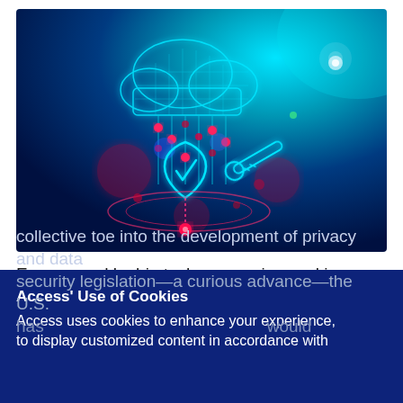[Figure (illustration): Digital cloud security illustration on dark blue background — a glowing cyan cloud with digital data streams falling like rain, a cyan shield with checkmark, pink/red glowing orbs at connection points, circular orbital rings around a base, and a cyan key/cylinder element. Background transitions from dark navy to cyan/teal in top-right corner.]
Encouraged by big tech companies seeking clarity and uniformity, the United States is finally dipping its collective toe into the development of privacy and data security legislation—a curious advance—the U.S. has … would
Access' Use of Cookies
Access uses cookies to enhance your experience, to display customized content in accordance with